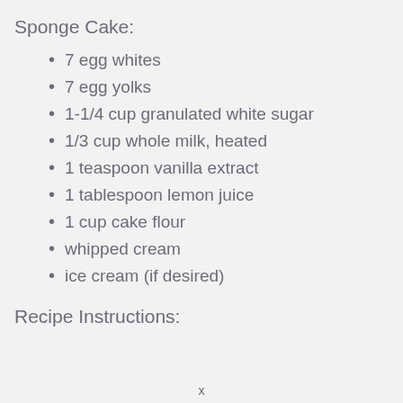Sponge Cake:
7 egg whites
7 egg yolks
1-1/4 cup granulated white sugar
1/3 cup whole milk, heated
1 teaspoon vanilla extract
1 tablespoon lemon juice
1 cup cake flour
whipped cream
ice cream (if desired)
Recipe Instructions:
x